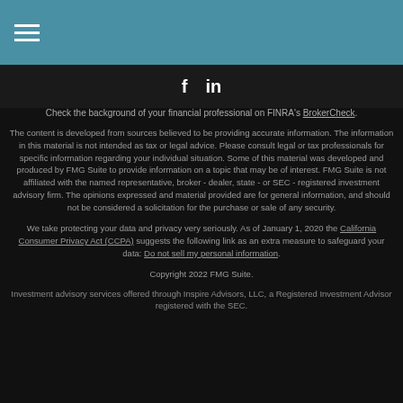Navigation header with hamburger menu
[Figure (other): Social media icons: Facebook (f) and LinkedIn (in)]
Check the background of your financial professional on FINRA's BrokerCheck.
The content is developed from sources believed to be providing accurate information. The information in this material is not intended as tax or legal advice. Please consult legal or tax professionals for specific information regarding your individual situation. Some of this material was developed and produced by FMG Suite to provide information on a topic that may be of interest. FMG Suite is not affiliated with the named representative, broker - dealer, state - or SEC - registered investment advisory firm. The opinions expressed and material provided are for general information, and should not be considered a solicitation for the purchase or sale of any security.
We take protecting your data and privacy very seriously. As of January 1, 2020 the California Consumer Privacy Act (CCPA) suggests the following link as an extra measure to safeguard your data: Do not sell my personal information.
Copyright 2022 FMG Suite.
Investment advisory services offered through Inspire Advisors, LLC, a Registered Investment Advisor registered with the SEC.